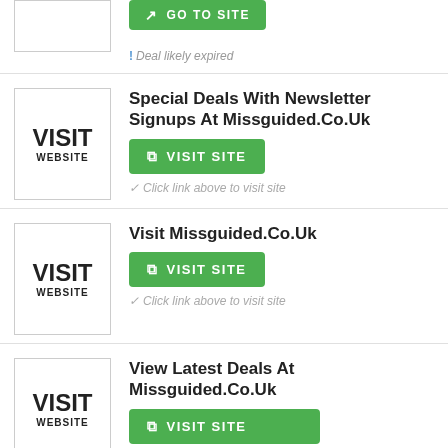[Figure (other): Visit Website logo box (partial, top of page)]
GO TO SITE (button, partially visible at top)
! Deal likely expired
[Figure (other): Visit Website logo box]
Special Deals With Newsletter Signups At Missguided.Co.Uk
VISIT SITE
Click link above to visit site
[Figure (other): Visit Website logo box]
Visit Missguided.Co.Uk
VISIT SITE
Click link above to visit site
[Figure (other): Visit Website logo box]
View Latest Deals At Missguided.Co.Uk
VISIT SITE